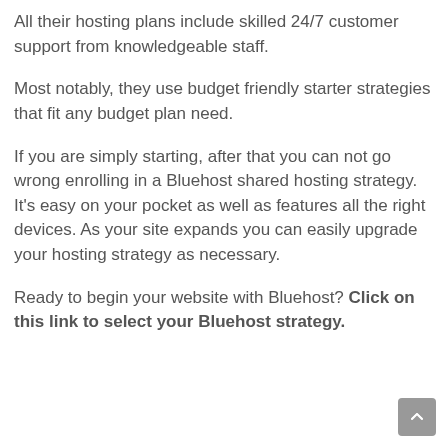All their hosting plans include skilled 24/7 customer support from knowledgeable staff.
Most notably, they use budget friendly starter strategies that fit any budget plan need.
If you are simply starting, after that you can not go wrong enrolling in a Bluehost shared hosting strategy. It's easy on your pocket as well as features all the right devices. As your site expands you can easily upgrade your hosting strategy as necessary.
Ready to begin your website with Bluehost? Click on this link to select your Bluehost strategy.